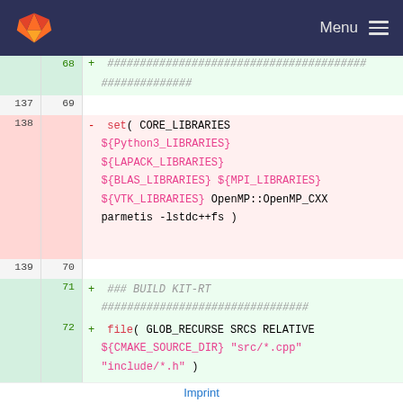GitLab — Menu
[Figure (screenshot): Code diff view showing CMakeLists.txt changes with line numbers, added and removed lines highlighted in green and red respectively]
Imprint